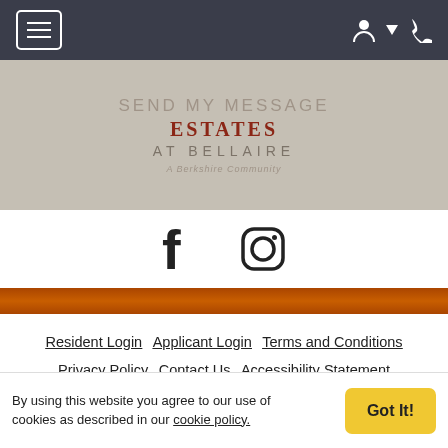Navigation bar with hamburger menu and user/phone icons
[Figure (screenshot): Logo area showing SEND MY MESSAGE text, ESTATES AT BELLAIRE logo, A Berkshire Community tagline on a tan/beige background]
[Figure (other): Social media icons: Facebook and Instagram]
[Figure (other): Orange horizontal divider bar]
Resident Login   Applicant Login   Terms and Conditions   Privacy Policy   Contact Us   Accessibility Statement   Blue Moon
© 2022 Berkshire Communities. All Rights Reserved | Powered by RentCafe (© 2022 Yardi Systems, Inc. All Rights Reserved)
By using this website you agree to our use of cookies as described in our cookie policy.